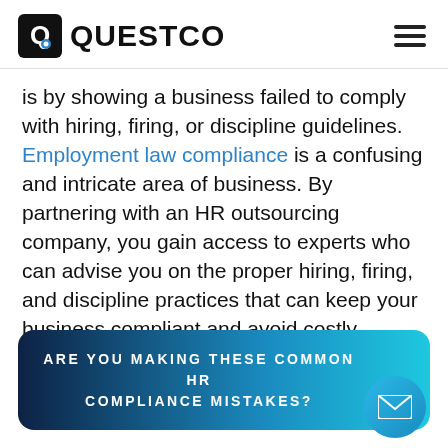QUESTCO
is by showing a business failed to comply with hiring, firing, or discipline guidelines. Employment law compliance is a confusing and intricate area of business. By partnering with an HR outsourcing company, you gain access to experts who can advise you on the proper hiring, firing, and discipline practices that can keep your business compliant and avoid costly mistakes.
ARE YOU MAKING THESE COMMON HR COMPLIANCE MISTAKES?